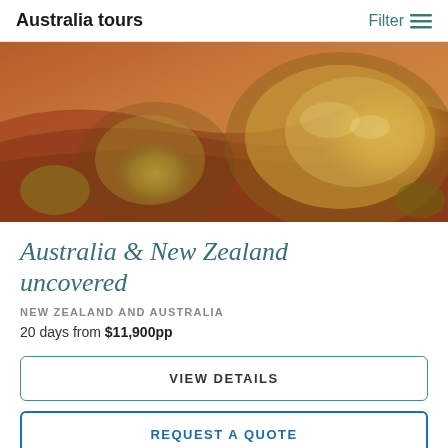Australia tours | Filter
[Figure (photo): Aerial photo of Australian desert landscape with red sand dunes and golden spinifex grass bushes lit by warm sunlight]
Australia & New Zealand uncovered
NEW ZEALAND AND AUSTRALIA
20 days from $11,900pp
VIEW DETAILS
REQUEST A QUOTE